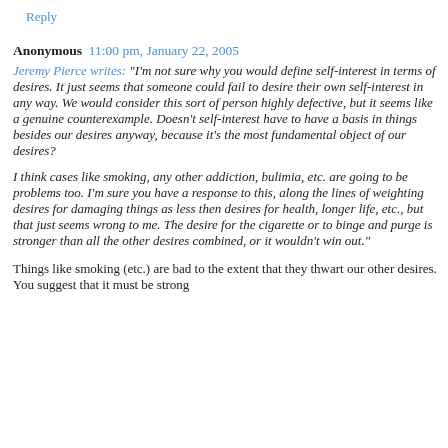Reply
Anonymous 11:00 pm, January 22, 2005
Jeremy Pierce writes: "I'm not sure why you would define self-interest in terms of desires. It just seems that someone could fail to desire their own self-interest in any way. We would consider this sort of person highly defective, but it seems like a genuine counterexample. Doesn't self-interest have to have a basis in things besides our desires anyway, because it's the most fundamental object of our desires?
I think cases like smoking, any other addiction, bulimia, etc. are going to be problems too. I'm sure you have a response to this, along the lines of weighting desires for damaging things as less then desires for health, longer life, etc., but that just seems wrong to me. The desire for the cigarette or to binge and purge is stronger than all the other desires combined, or it wouldn't win out."
Things like smoking (etc.) are bad to the extent that they thwart our other desires. You suggest that it must be strong